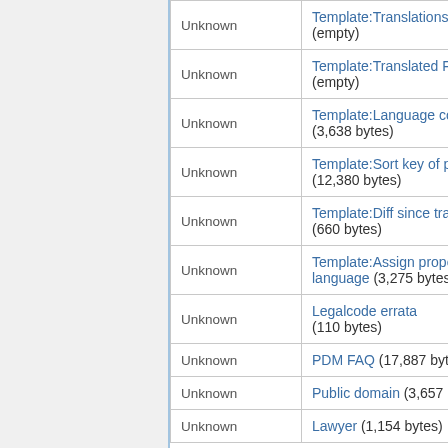| Status | Name | Info |
| --- | --- | --- |
| Unknown | Template:Translations/code (empty) | in |
| Unknown | Template:Translated From/code (empty) | in |
| Unknown | Template:Language code of page (3,638 bytes) | in |
| Unknown | Template:Sort key of page (12,380 bytes) | in |
| Unknown | Template:Diff since trans/code (660 bytes) | in |
| Unknown | Template:Assign property Has language (3,275 bytes) | in |
| Unknown | Legalcode errata (110 bytes) | in |
| Unknown | PDM FAQ (17,887 bytes) | in |
| Unknown | Public domain (3,657 bytes) | in |
| Unknown | Lawyer (1,154 bytes) | in |